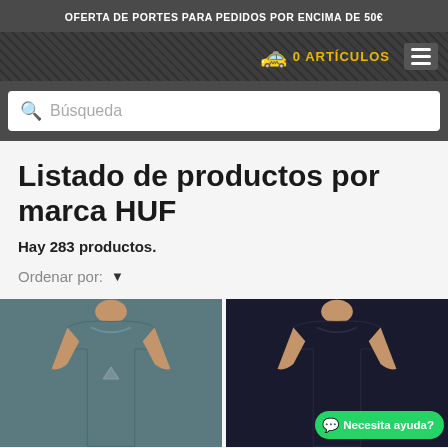OFERTA DE PORTES PARA PEDIDOS POR ENCIMA DE 50€
0 ARTÍCULOS
Búsqueda
Listado de productos por marca HUF
Hay 283 productos.
Ordenar por:
[Figure (photo): Two mannequins wearing tank tops: left one in dark teal/gray, right one in black. Both tank tops appear to be HUF brand.]
Necesita ayuda?